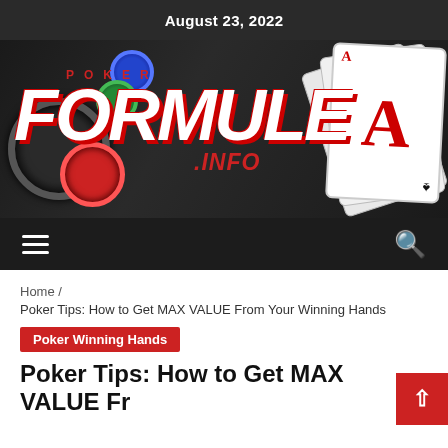August 23, 2022
[Figure (logo): PokerFormule.info logo overlaid on a photo of poker chips and playing cards including an Ace, on a dark background. Logo shows 'POKER' in small red letters above large white italic 'FORMULE' with red shadow, and '.INFO' in red italic below right.]
[Figure (other): Navigation bar with hamburger menu icon on the left and search magnifying glass icon on the right, on a dark background.]
Home / Poker Tips: How to Get MAX VALUE From Your Winning Hands
Poker Winning Hands
Poker Tips: How to Get MAX VALUE Fr...